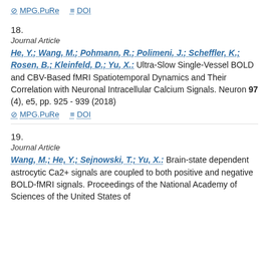MPG.PuRe   DOI
18.
Journal Article
He, Y.; Wang, M.; Pohmann, R.; Polimeni, J.; Scheffler, K.; Rosen, B.; Kleinfeld, D.; Yu, X.: Ultra-Slow Single-Vessel BOLD and CBV-Based fMRI Spatiotemporal Dynamics and Their Correlation with Neuronal Intracellular Calcium Signals. Neuron 97 (4), e5, pp. 925 - 939 (2018)
MPG.PuRe   DOI
19.
Journal Article
Wang, M.; He, Y.; Sejnowski, T.; Yu, X.: Brain-state dependent astrocytic Ca2+ signals are coupled to both positive and negative BOLD-fMRI signals. Proceedings of the National Academy of Sciences of the United States of